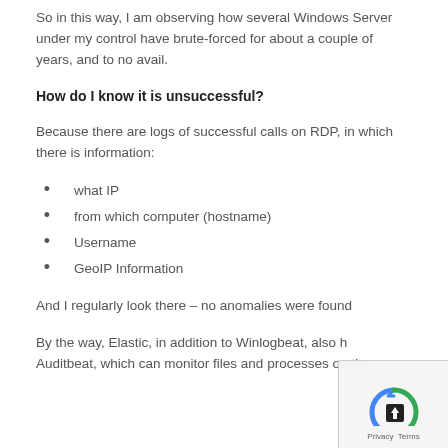So in this way, I am observing how several Windows Server under my control have brute-forced for about a couple of years, and to no avail.
How do I know it is unsuccessful?
Because there are logs of successful calls on RDP, in which there is information:
what IP
from which computer (hostname)
Username
GeoIP Information
And I regularly look there – no anomalies were found
By the way, Elastic, in addition to Winlogbeat, also has Auditbeat, which can monitor files and processes on the